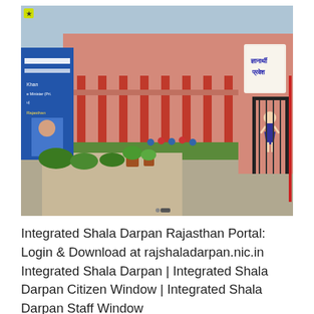[Figure (photo): A photograph of a school building in Rajasthan, India. The building is pink-colored with red columns and two floors visible. There is a gate entrance on the right side with Hindi text 'परीक्षार्थी प्रवेश' (Examinee Entry) and a painted illustration of a girl student. On the left side is a blue poster/banner partially visible with text 'Khan', 'Minister (Pri...)', 'Rajasthan'. Students can be seen in the courtyard. There are plants and greenery in front of the building.]
Integrated Shala Darpan Rajasthan Portal: Login & Download at rajshaladarpan.nic.in Integrated Shala Darpan | Integrated Shala Darpan Citizen Window | Integrated Shala Darpan Staff Window